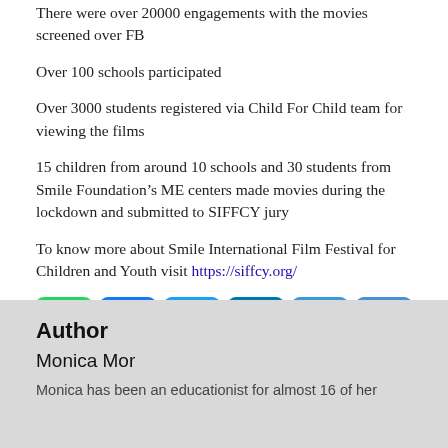There were over 20000 engagements with the movies screened over FB
Over 100 schools participated
Over 3000 students registered via Child For Child team for viewing the films
15 children from around 10 schools and 30 students from Smile Foundation’s ME centers made movies during the lockdown and submitted to SIFFCY jury
To know more about Smile International Film Festival for Children and Youth visit https://siffcy.org/
[Figure (infographic): Social media sharing icons: WhatsApp (green), Facebook (blue), Twitter (light blue), LinkedIn (dark blue), Email (blue), More/Share (blue)]
Author
Monica Mor
Monica has been an educationist for almost 16 of her